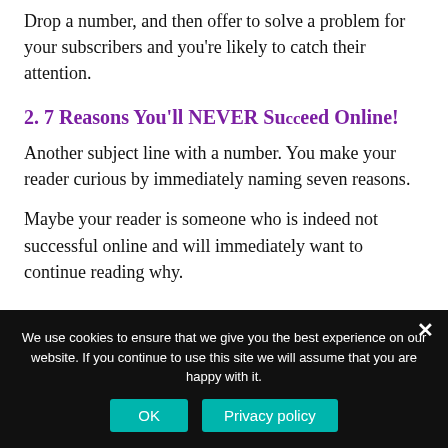Drop a number, and then offer to solve a problem for your subscribers and you're likely to catch their attention.
2. 7 Reasons You'll NEVER Succeed Online!
Another subject line with a number. You make your reader curious by immediately naming seven reasons.
Maybe your reader is someone who is indeed not successful online and will immediately want to continue reading why.
We use cookies to ensure that we give you the best experience on our website. If you continue to use this site we will assume that you are happy with it.